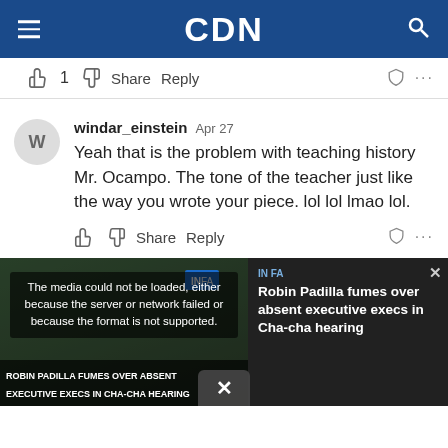CDN
👍 1 👎 Share Reply
windar_einstein Apr 27
Yeah that is the problem with teaching history Mr. Ocampo. The tone of the teacher just like the way you wrote your piece. lol lol lmao lol.
👍 👎 Share Reply
[Figure (screenshot): Video media error overlay on thumbnail with text: The media could not be loaded, either because the server or network failed or because the format is not supported. Thumbnail shows 'ROBIN PADILLA FUMES OVER ABSENT EXECUTIVE EXECS IN CHA-CHA HEARING'. Sidebar shows headline: Robin Padilla fumes over absent executive execs in Cha-cha hearing. Close X button at bottom.]